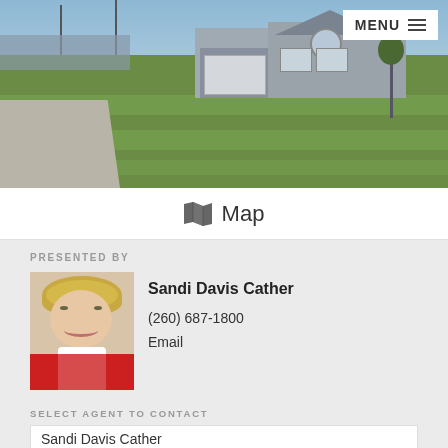[Figure (photo): Aerial/street view photo of a single-story ranch house with attached garage, surrounded by green lawn, with a concrete driveway. A MENU button is visible in the top right corner.]
MENU
🗺 Map
PRESENTED BY
[Figure (photo): Headshot photo of Sandi Davis Cather, a woman with short blonde hair wearing a red jacket with white collar, smiling.]
Sandi Davis Cather
(260) 687-1800
Email
SELECT AGENT TO CONTACT
Sandi Davis Cather